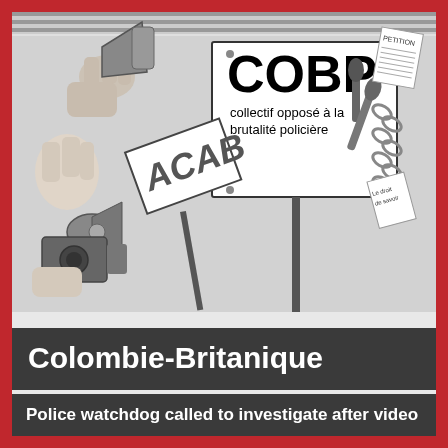[Figure (illustration): Black and white illustration showing a protest scene with hands holding signs. A large sign reads 'COBP collectif opposé à la brutalité policière'. Another sign reads 'ACAB'. Protest imagery including megaphones, cameras, chains, and papers. Background shows a crosswalk.]
Colombie-Britanique
Police watchdog called to investigate after video